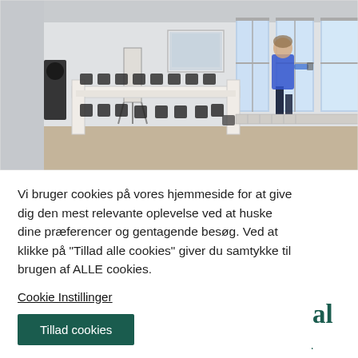[Figure (photo): A bright conference/meeting room with long white tables arranged in a U-shape, black chairs, presentation screen, and a person in blue top walking near the windows.]
Vi bruger cookies på vores hjemmeside for at give dig den mest relevante oplevelse ved at huske dine præferencer og gentagende besøg. Ved at klikke på "Tillad alle cookies" giver du samtykke til brugen af ALLE cookies.
Cookie Instillinger
Tillad cookies
...orical environment. We enjoyed